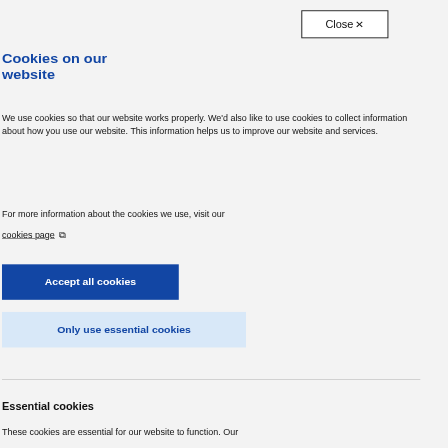[Figure (screenshot): Cookie consent dialog overlay on a government website. Contains a Close button, title 'Cookies on our website', descriptive text about cookie usage, links to cookies page, Accept all cookies button, Only use essential cookies button, a divider, and Essential cookies section header with description.]
Cookies on our website
We use cookies so that our website works properly. We'd also like to use cookies to collect information about how you use our website. This information helps us to improve our website and services.
For more information about the cookies we use, visit our
cookies page
Accept all cookies
Only use essential cookies
Essential cookies
These cookies are essential for our website to function. Our